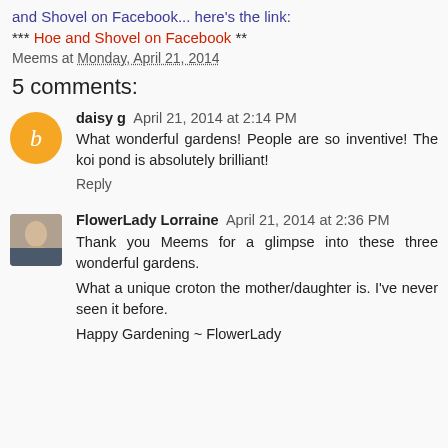and Shovel on Facebook... here's the link:
*** Hoe and Shovel on Facebook  **
Meems at Monday, April 21, 2014
5 comments:
daisy g  April 21, 2014 at 2:14 PM
What wonderful gardens! People are so inventive! The koi pond is absolutely brilliant!
Reply
FlowerLady Lorraine  April 21, 2014 at 2:36 PM
Thank you Meems for a glimpse into these three wonderful gardens.

What a unique croton the mother/daughter is. I've never seen it before.

Happy Gardening ~ FlowerLady